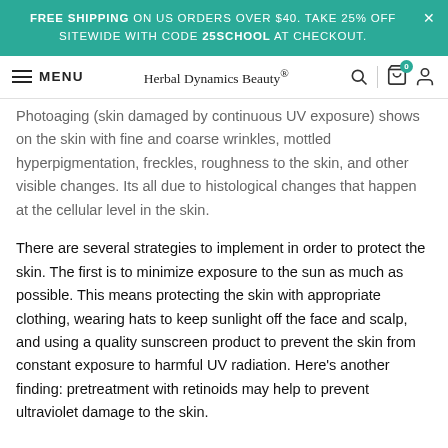FREE SHIPPING ON US ORDERS OVER $40. TAKE 25% OFF SITEWIDE WITH CODE 25SCHOOL AT CHECKOUT.
MENU  Herbal Dynamics Beauty®
Photoaging (skin damaged by continuous UV exposure) shows on the skin with fine and coarse wrinkles, mottled hyperpigmentation, freckles, roughness to the skin, and other visible changes. Its all due to histological changes that happen at the cellular level in the skin.
There are several strategies to implement in order to protect the skin. The first is to minimize exposure to the sun as much as possible. This means protecting the skin with appropriate clothing, wearing hats to keep sunlight off the face and scalp, and using a quality sunscreen product to prevent the skin from constant exposure to harmful UV radiation. Here's another finding: pretreatment with retinoids may help to prevent ultraviolet damage to the skin.